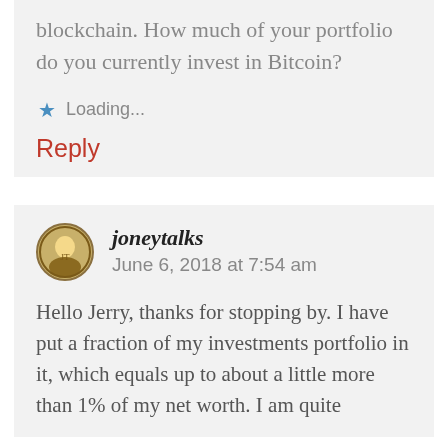blockchain. How much of your portfolio do you currently invest in Bitcoin?
Loading...
Reply
joneytalks   June 6, 2018 at 7:54 am
Hello Jerry, thanks for stopping by. I have put a fraction of my investments portfolio in it, which equals up to about a little more than 1% of my net worth. I am quite